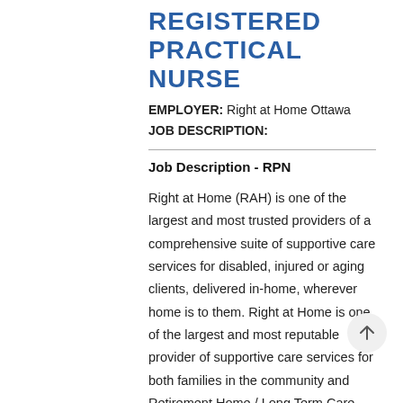REGISTERED PRACTICAL NURSE
EMPLOYER: Right at Home Ottawa
JOB DESCRIPTION:
Job Description - RPN
Right at Home (RAH) is one of the largest and most trusted providers of a comprehensive suite of supportive care services for disabled, injured or aging clients, delivered in-home, wherever home is to them. Right at Home is one of the largest and most reputable provider of supportive care services for both families in the community and Retirement Home / Long Term Care settings alike. Right at Home has operations spread across eight